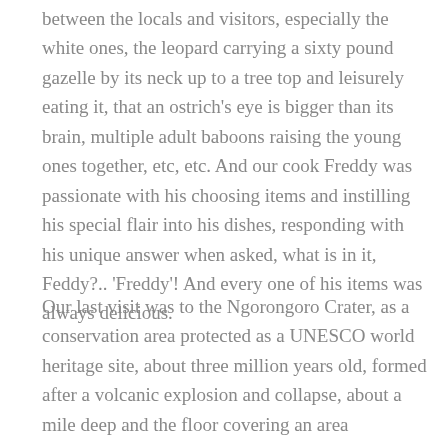between the locals and visitors, especially the white ones, the leopard carrying a sixty pound gazelle by its neck up to a tree top and leisurely eating it, that an ostrich's eye is bigger than its brain, multiple adult baboons raising the young ones together, etc, etc. And our cook Freddy was passionate with his choosing items and instilling his special flair into his dishes, responding with his unique answer when asked, what is in it, Feddy?.. 'Freddy'! And every one of his items was always delicious.
Our last visit was to the Ngorongoro Crater, as a conservation area protected as a UNESCO world heritage site, about three million years old, formed after a volcanic explosion and collapse, about a mile deep and the floor covering an area